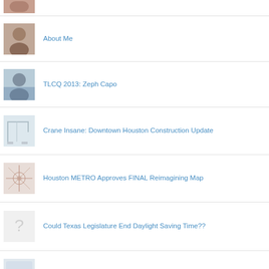(partial image at top)
About Me
TLCQ 2013: Zeph Capo
Crane Insane: Downtown Houston Construction Update
Houston METRO Approves FINAL Reimagining Map
Could Texas Legislature End Daylight Saving Time??
Music Musings: The Jackson 5 Celebrate 50 Years As Recording Artists
Houston NDO Draft INCLUDES Private Employment Protections